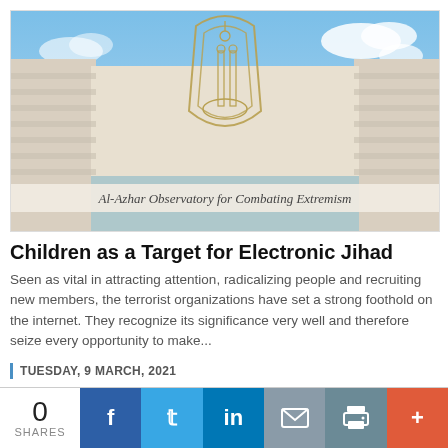[Figure (photo): Photograph of Al-Azhar Observatory building with a blue sky background and an ornate emblem/logo overlaid on the facade. Caption text on the image reads 'Al-Azhar Observatory for Combating Extremism'.]
Children as a Target for Electronic Jihad
Seen as vital in attracting attention, radicalizing people and recruiting new members, the terrorist organizations have set a strong foothold on the internet. They recognize its significance very well and therefore seize every opportunity to make...
TUESDAY, 9 MARCH, 2021